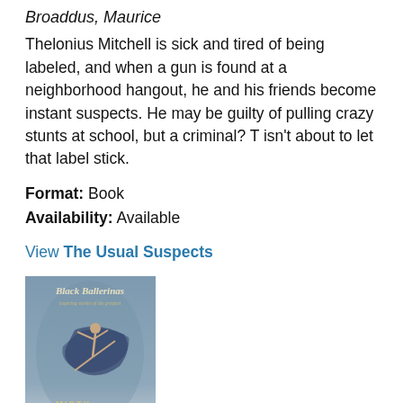Broaddus, Maurice
Thelonius Mitchell is sick and tired of being labeled, and when a gun is found at a neighborhood hangout, he and his friends become instant suspects. He may be guilty of pulling crazy stunts at school, but a criminal? T isn't about to let that label stick.
Format: Book
Availability: Available
View The Usual Suspects
[Figure (photo): Book cover of 'Black Ballerinas' featuring a ballerina in mid-leap with flowing fabric, by Misty Copeland]
Black Ballerinas